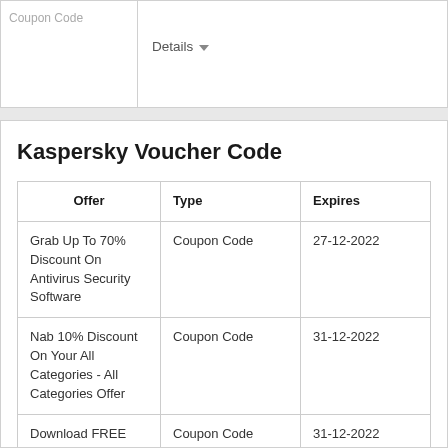Coupon Code
Details
Kaspersky Voucher Code
| Offer | Type | Expires |
| --- | --- | --- |
| Grab Up To 70% Discount On Antivirus Security Software | Coupon Code | 27-12-2022 |
| Nab 10% Discount On Your All Categories - All Categories Offer | Coupon Code | 31-12-2022 |
| Download FREE Antivirus Security Software | Coupon Code | 31-12-2022 |
| Nab Saving Of Up To 60% On Kaspersky Total Security For Android Mobile & Tablets | Coupon Code | 02-11-2022 |
| Grab Up To 25% Discount On |  |  |